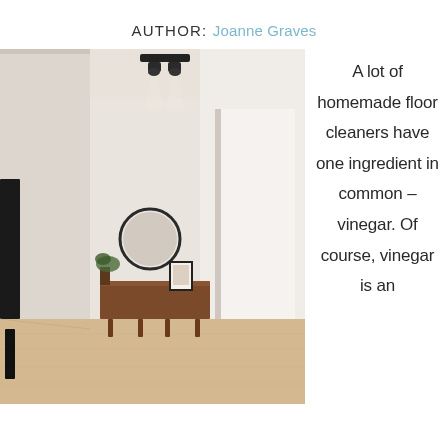AUTHOR: Joanne Graves
[Figure (photo): Interior hallway of a modern home with light wood floors, white walls, a black ceiling spotlight fixture, a round mirror above a wooden sideboard with decorative items, an open doorway, and a tall black speaker on the left.]
A lot of homemade floor cleaners have one ingredient in common – vinegar. Of course, vinegar is an